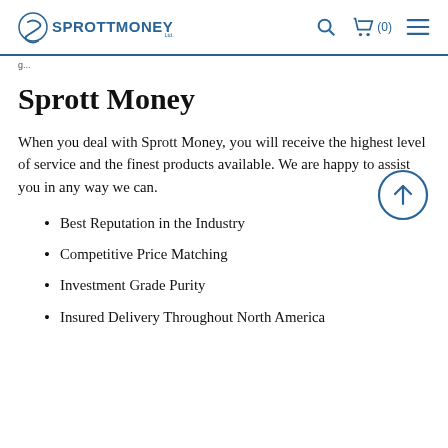Sprott Money — navigation header with logo, search, cart (0), and menu icons
Sprott Money
When you deal with Sprott Money, you will receive the highest level of service and the finest products available. We are happy to assist you in any way we can.
Best Reputation in the Industry
Competitive Price Matching
Investment Grade Purity
Insured Delivery Throughout North America